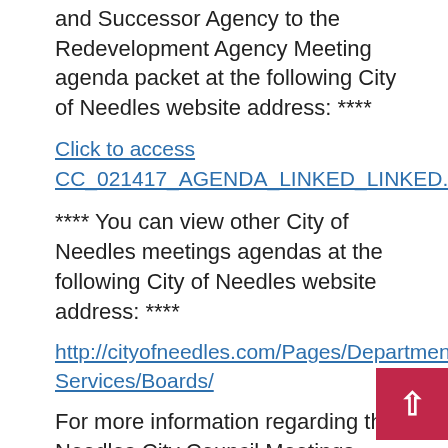and Successor Agency to the Redevelopment Agency Meeting agenda packet at the following City of Needles website address: ****
Click to access CC_021417_AGENDA_LINKED_LINKED.pdf
**** You can view other City of Needles meetings agendas at the following City of Needles website address: ****
http://cityofneedles.com/Pages/Departments-Services/Boards/
For more information regarding the Needles City Council Meetings, please contact Dale Jones in the City Clerk's Office at the City of Needles at: 1 (760) 326-2113 Ext. 345.